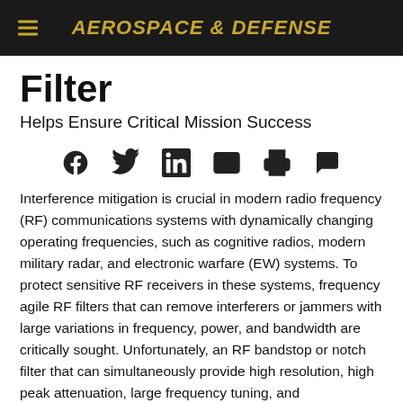AEROSPACE & DEFENSE
Filter
Helps Ensure Critical Mission Success
[Figure (infographic): Social media sharing icons: Facebook, Twitter, LinkedIn, Email, Print, Comment]
Interference mitigation is crucial in modern radio frequency (RF) communications systems with dynamically changing operating frequencies, such as cognitive radios, modern military radar, and electronic warfare (EW) systems. To protect sensitive RF receivers in these systems, frequency agile RF filters that can remove interferers or jammers with large variations in frequency, power, and bandwidth are critically sought. Unfortunately, an RF bandstop or notch filter that can simultaneously provide high resolution, high peak attenuation, large frequency tuning, and